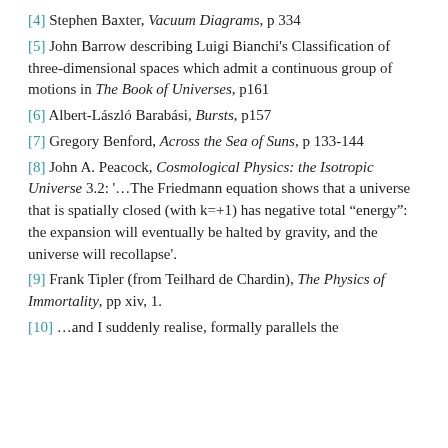[4] Stephen Baxter, Vacuum Diagrams, p 334
[5] John Barrow describing Luigi Bianchi's Classification of three-dimensional spaces which admit a continuous group of motions in The Book of Universes, p161
[6] Albert-László Barabási, Bursts, p157
[7] Gregory Benford, Across the Sea of Suns, p 133-144
[8] John A. Peacock, Cosmological Physics: the Isotropic Universe 3.2: '…The Friedmann equation shows that a universe that is spatially closed (with k=+1) has negative total "energy": the expansion will eventually be halted by gravity, and the universe will recollapse'.
[9] Frank Tipler (from Teilhard de Chardin), The Physics of Immortality, pp xiv, 1.
[10] …and I suddenly realise, formally parallels the